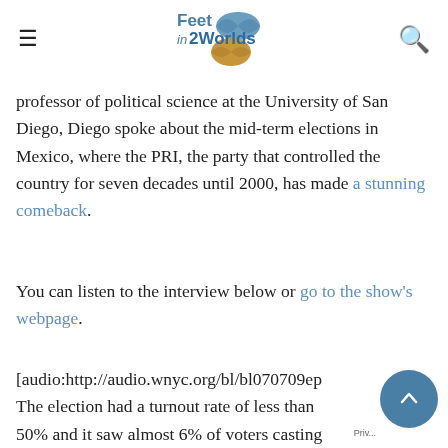Feet in 2 Worlds [logo with globe]
professor of political science at the University of San Diego, Diego spoke about the mid-term elections in Mexico, where the PRI, the party that controlled the country for seven decades until 2000, has made a stunning comeback.
You can listen to the interview below or go to the show's webpage.
[audio:http://audio.wnyc.org/bl/bl070709ep... The election had a turnout rate of less than 50% and it saw almost 6% of voters casting